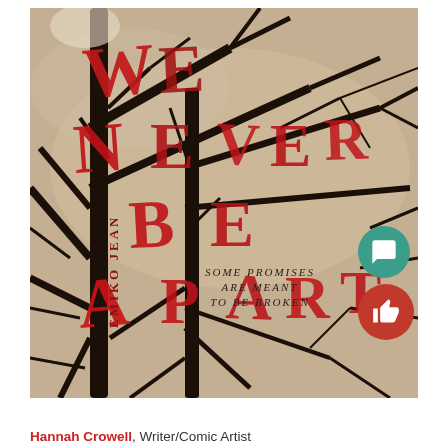[Figure (photo): Book cover of 'We'll Never Be Apart' by Emiko Jean. Dark atmospheric photo of bare tree branches against a pale sky, with the title text rendered in large red and black letters intertwined with the branches. Tagline reads 'SOME PROMISES ARE MEANT TO BE BROKEN'. Author name 'EMIKO JEAN' appears vertically along the lower left.]
Hannah Crowell, Writer/Comic Artist